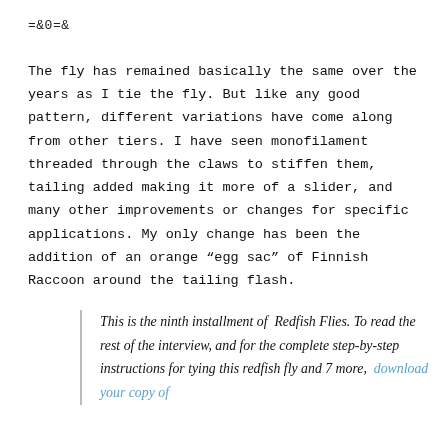=&0=&
The fly has remained basically the same over the years as I tie the fly. But like any good pattern, different variations have come along from other tiers. I have seen monofilament threaded through the claws to stiffen them, tailing added making it more of a slider, and many other improvements or changes for specific applications. My only change has been the addition of an orange “egg sac” of Finnish Raccoon around the tailing flash.
This is the ninth installment of Redfish Flies. To read the rest of the interview, and for the complete step-by-step instructions for tying this redfish fly and 7 more, download your copy of